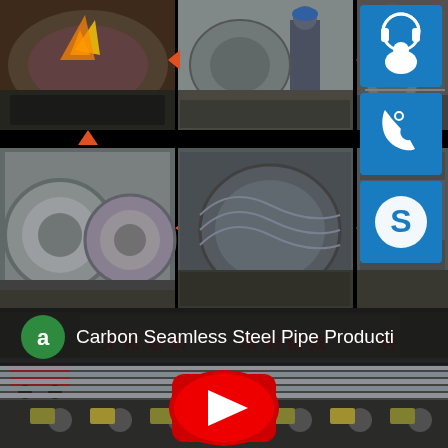[Figure (photo): Grid of 5 industrial photos showing spiral steel pipe manufacturing process with orange arrow indicators between steps, and 3 blue contact icon buttons (headset/customer service, phone, Skype) on the right side]
Carbon Seamless Steel Pipe Producti...
[Figure (photo): Factory floor showing steel pipe manufacturing facility with Chinese text on wall reading 开拓创新 精细创效 科, steel pipes on conveyor, with YouTube play button overlay]